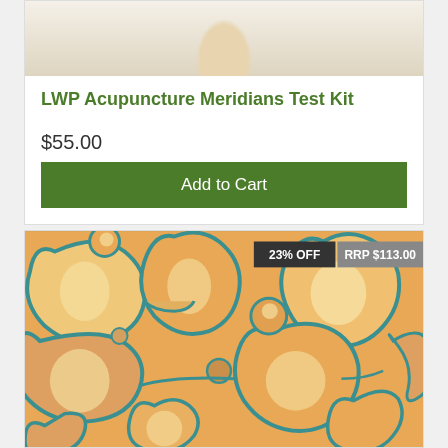[Figure (photo): Acupuncture meridians diagram/figure, top portion of product card]
LWP Acupuncture Meridians Test Kit
$55.00
Add to Cart
[Figure (photo): Microscope image of cells with teal/blue outlines on orange background. Badges: 23% OFF and RRP $113.00]